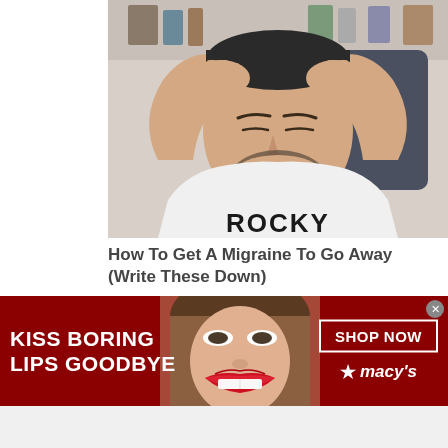[Figure (photo): Man in white Rocky t-shirt with hands on head, eyes closed, appearing to have a headache or migraine]
How To Get A Migraine To Go Away (Write These Down)
Migraine | Search Ads
[Figure (photo): Partial outdoor photo showing rooftops and trees]
[Figure (photo): Advertisement banner: Kiss Boring Lips Goodbye - Macy's Shop Now ad with woman with red lips]